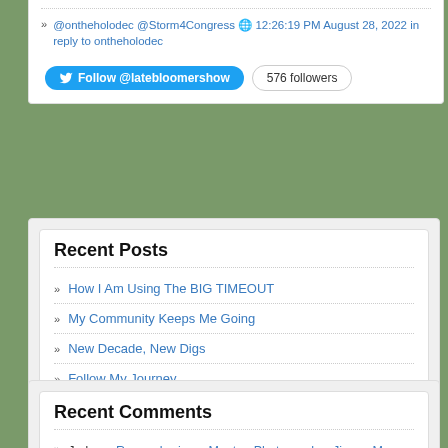@ontheholodec @Storm4Congress 🌐 12:26:19 PM August 28, 2022 in reply to ontheholodec
Follow @latebloomershow | 576 followers
Recent Posts
How I Am Using The BIG TIMEOUT
My Community Keeps Me Going
New Decade, New Digs
Follow My Journey
Savor the Harvest!
Recent Comments
Jade on Remembering a Mentor, Photographer Jimmy Moore